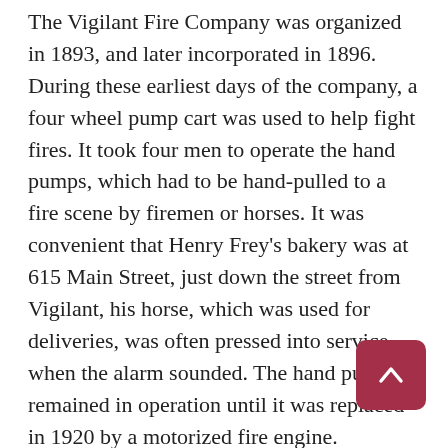The Vigilant Fire Company was organized in 1893, and later incorporated in 1896. During these earliest days of the company, a four wheel pump cart was used to help fight fires. It took four men to operate the hand pumps, which had to be hand-pulled to a fire scene by firemen or horses. It was convenient that Henry Frey's bakery was at 615 Main Street, just down the street from Vigilant, his horse, which was used for deliveries, was often pressed into service when the alarm sounded. The hand pump remained in operation until it was replaced in 1920 by a motorized fire engine.
The first audible alarm at the company was a large metal wheel rim off a railroad car from the Gardenville Yard of the New York Central Railroad. When a fire was spotted, the first member to the hall would take a solid metal pole and smack the hollow metal wheel rim. The sound was unique and loud, and it carried for long distances.
Vigilant was one of the first fire companies in the area to